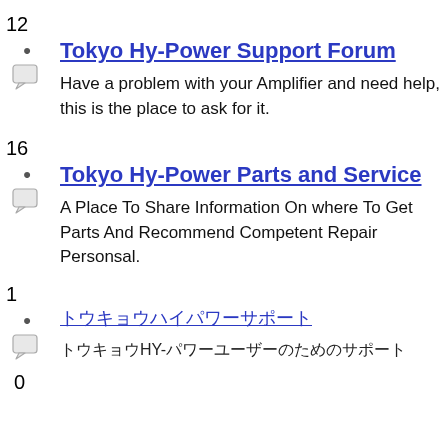12
Tokyo Hy-Power Support Forum
Have a problem with your Amplifier and need help, this is the place to ask for it.
16
Tokyo Hy-Power Parts and Service
A Place To Share Information On where To Get Parts And Recommend Competent Repair Personsal.
1
トウキョウハイパワーサポート
トウキョウHY-パワーユーザーのためのサポート
0